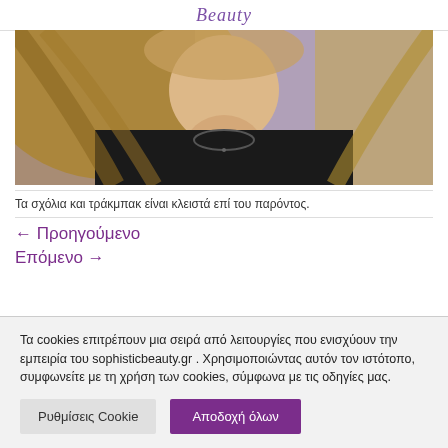Beauty
[Figure (photo): Photo of a woman with long blonde/brown hair wearing a black top and a beaded necklace]
Τα σχόλια και τράκμπακ είναι κλειστά επί του παρόντος.
← Προηγούμενο
Επόμενο →
Τα cookies επιτρέπουν μια σειρά από λειτουργίες που ενισχύουν την εμπειρία του sophisticbeauty.gr . Χρησιμοποιώντας αυτόν τον ιστότοπο, συμφωνείτε με τη χρήση των cookies, σύμφωνα με τις οδηγίες μας.
Ρυθμίσεις Cookie | Αποδοχή όλων